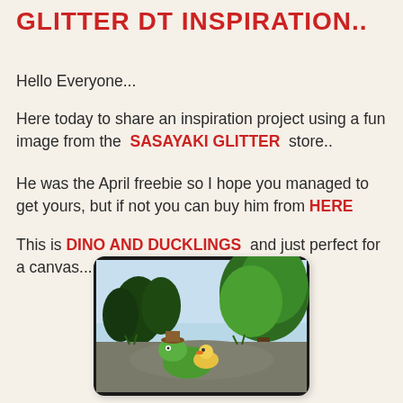GLITTER DT INSPIRATION..
Hello Everyone...
Here today to share an inspiration project using a fun image from the SASAYAKI GLITTER store..
He was the April freebie so I hope you managed to get yours, but if not you can buy him from HERE
This is DINO AND DUCKLINGS and just perfect for a canvas...
[Figure (illustration): A painted canvas artwork showing a cartoon dinosaur wearing a brown hat with a duckling on a nature background with trees and water.]